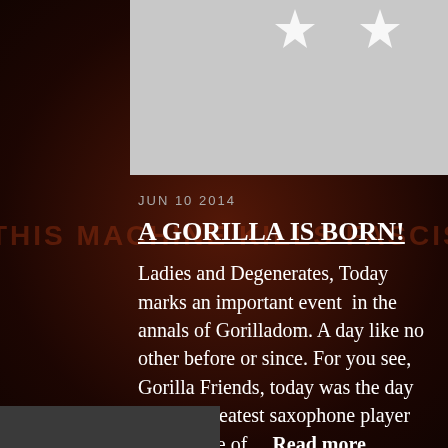[Figure (photo): Gray image placeholder at top of post, partially visible]
JUN 10 2014
A GORILLA IS BORN!
Ladies and Degenerates, Today marks an important event  in the annals of Gorilladom. A day like no other before or since. For you see, Gorilla Friends, today was the day that the greatest saxophone player on the face of… Read more